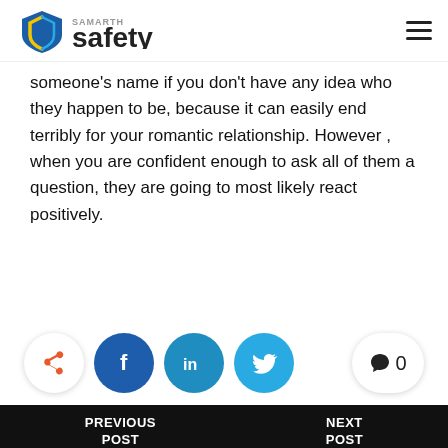Samarth Safety logo and navigation
someone's name if you don't have any idea who they happen to be, because it can easily end terribly for your romantic relationship. However , when you are confident enough to ask all of them a question, they are going to most likely react positively.
[Figure (infographic): Social share buttons: share icon, Facebook, LinkedIn, Twitter, and comment count showing 0]
PREVIOUS POST    NEXT POST